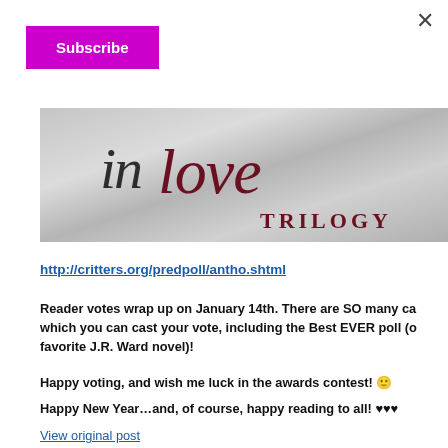[Figure (photo): Book cover banner image showing 'in Love Trilogy' text in decorative script on a metallic silver textured background with dark red/maroon lettering]
http://critters.org/predpoll/antho.shtml
Reader votes wrap up on January 14th. There are SO many ca which you can cast your vote, including the Best EVER poll (o favorite J.R. Ward novel)!
Happy voting, and wish me luck in the awards contest! 🙂
Happy New Year...and, of course, happy reading to all! ♥♥♥
View original post